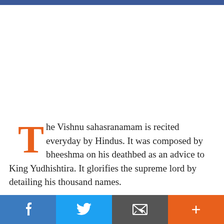The Vishnu sahasranamam is recited everyday by Hindus. It was composed by bheeshma on his deathbed as an advice to King Yudhishtira. It glorifies the supreme lord by detailing his thousand names.

The Vishnu Sahasranama is the combination of thousand
f  [Twitter]  [Envelope]  +